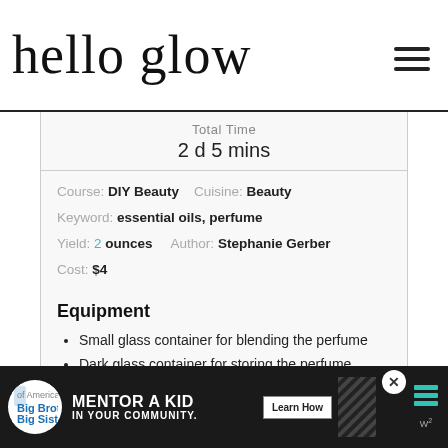hello glow
Total Time
2 d 5 mins
Course: DIY Beauty   Cuisine: Beauty
Keyword: essential oils, perfume
Yield: 2 ounces   Author: Stephanie Gerber
Cost: $4
Equipment
Small glass container for blending the perfume
Dark glass container for storing the perfume
Pretty glass perfume bottle to keep perfume